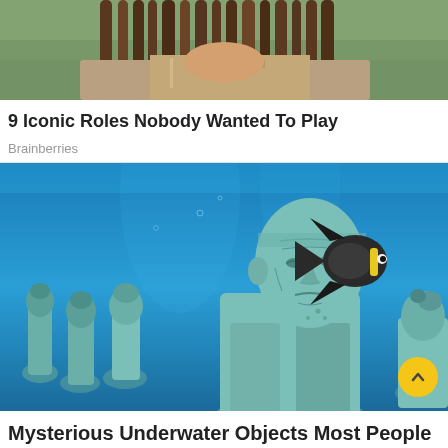[Figure (photo): Cropped photo of a person with dreadlocks wearing a costume, likely from Pirates of the Caribbean]
9 Iconic Roles Nobody Wanted To Play
Brainberries
[Figure (photo): Underwater photo showing human-like sculptures submerged in blue ocean water with a tropical fish swimming above them]
Mysterious Underwater Objects Most People Don't Know About
Brainberries